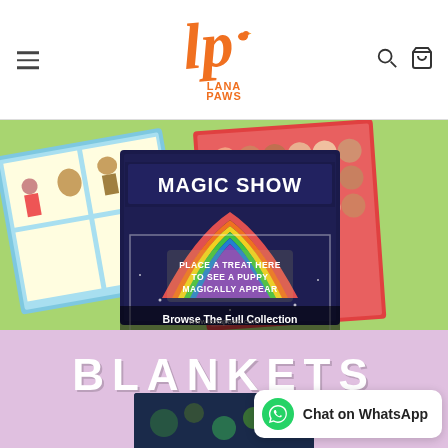[Figure (screenshot): Lana Paws website header with orange cursive logo, hamburger menu icon on left, search and cart icons on right]
[Figure (photo): Green background product photo showing dog activity mats/books including a Magic Show mat that says 'Place a treat here to see a puppy magically appear' with rainbow design, comic strip mat, and red mat with dog faces. Text overlay: 'Browse The Full Collection' and 'www.lanapaws.com']
[Figure (photo): Pink/lavender background section showing BLANKETS category header in bold white letters, with dark navy blue blanket with dog pattern partially visible below]
Chat on WhatsApp